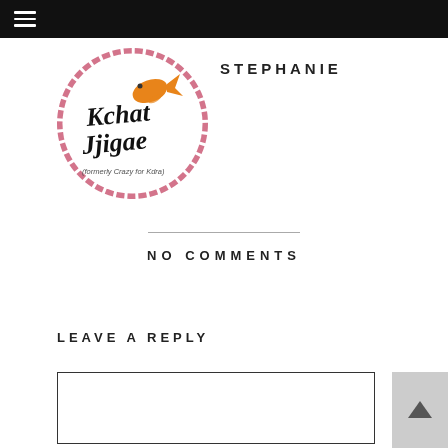Navigation menu bar
[Figure (logo): Kchat Jjigae (formerly Crazy for Kdra) circular logo with a goldfish illustration and pink brush stroke border]
STEPHANIE
NO COMMENTS
LEAVE A REPLY